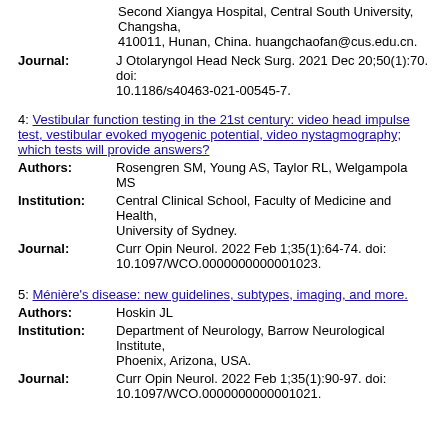Second Xiangya Hospital, Central South University, Changsha, 410011, Hunan, China. huangchaofan@cus.edu.cn.
Journal: J Otolaryngol Head Neck Surg. 2021 Dec 20;50(1):70. doi: 10.1186/s40463-021-00545-7.
4: Vestibular function testing in the 21st century: video head impulse test, vestibular evoked myogenic potential, video nystagmography; which tests will provide answers?
Authors: Rosengren SM, Young AS, Taylor RL, Welgampola MS
Institution: Central Clinical School, Faculty of Medicine and Health, University of Sydney.
Journal: Curr Opin Neurol. 2022 Feb 1;35(1):64-74. doi: 10.1097/WCO.0000000000001023.
5: Ménière's disease: new guidelines, subtypes, imaging, and more.
Authors: Hoskin JL
Institution: Department of Neurology, Barrow Neurological Institute, Phoenix, Arizona, USA.
Journal: Curr Opin Neurol. 2022 Feb 1;35(1):90-97. doi: 10.1097/WCO.0000000000001021.